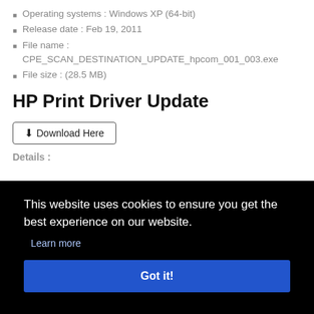Operating systems : Windows XP (64-bit)
Release date : Feb 19, 2011
File name : CPE_SCAN_DESTINATION_UPDATE_hpcom_001_003.exe
File size : (28.5 MB)
HP Print Driver Update
⬇Download Here
Details :
This website uses cookies to ensure you get the best experience on our website.
Learn more
Got it!
HP Photosmart C7280 Driver